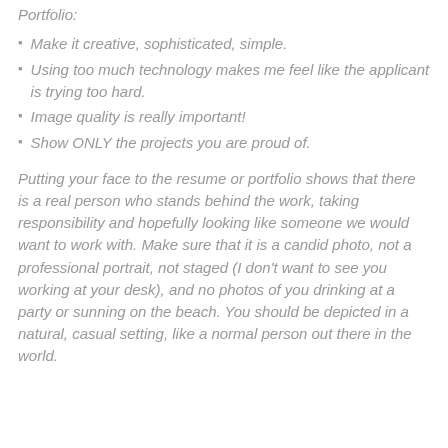Portfolio:
Make it creative, sophisticated, simple.
Using too much technology makes me feel like the applicant is trying too hard.
Image quality is really important!
Show ONLY the projects you are proud of.
Putting your face to the resume or portfolio shows that there is a real person who stands behind the work, taking responsibility and hopefully looking like someone we would want to work with. Make sure that it is a candid photo, not a professional portrait, not staged (I don't want to see you working at your desk), and no photos of you drinking at a party or sunning on the beach. You should be depicted in a natural, casual setting, like a normal person out there in the world.